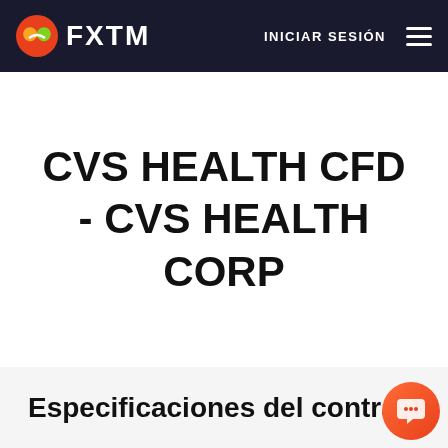FXTM | INICIAR SESIÓN
CVS HEALTH CFD - CVS HEALTH CORP
Especificaciones del contrato